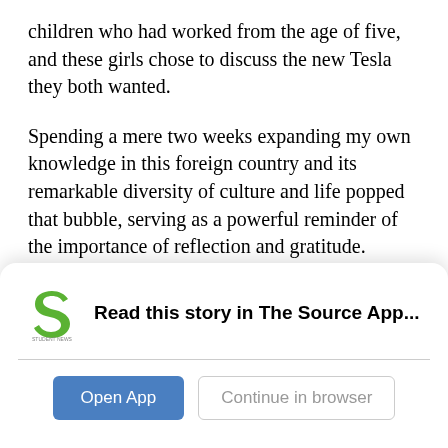children who had worked from the age of five, and these girls chose to discuss the new Tesla they both wanted.
Spending a mere two weeks expanding my own knowledge in this foreign country and its remarkable diversity of culture and life popped that bubble, serving as a powerful reminder of the importance of reflection and gratitude.
Next time I find myself griping about my workload, the gloomy weather or lack of free time, I vow to remind myself of the children I met in Costa Rica. I will...
[Figure (logo): Student News Source app logo — green stylized S shape above text 'STUDENT NEWS SOURCE']
Read this story in The Source App...
Open App   Continue in browser